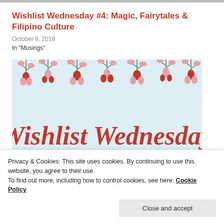Wishlist Wednesday #4: Magic, Fairytales & Filipino Culture
October 9, 2019
In "Musings"
[Figure (illustration): Wishlist Wednesday decorative banner with pink and red flowers on a light blue background, with cursive text reading 'Wishlist Wednesday']
Privacy & Cookies: This site uses cookies. By continuing to use this website, you agree to their use.
To find out more, including how to control cookies, see here: Cookie Policy
Close and accept